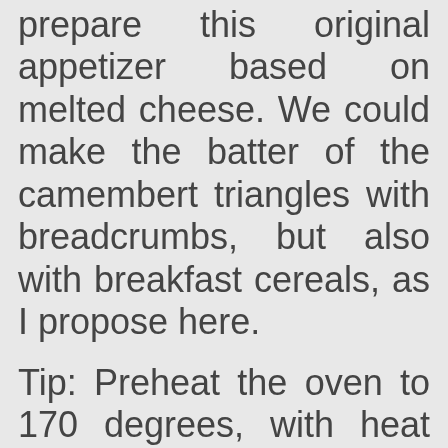prepare this original appetizer based on melted cheese. We could make the batter of the camembert triangles with breadcrumbs, but also with breakfast cereals, as I propose here.
Tip: Preheat the oven to 170 degrees, with heat up and down.
Step NO 2
First we chop cereals with a mortar . We can look for a